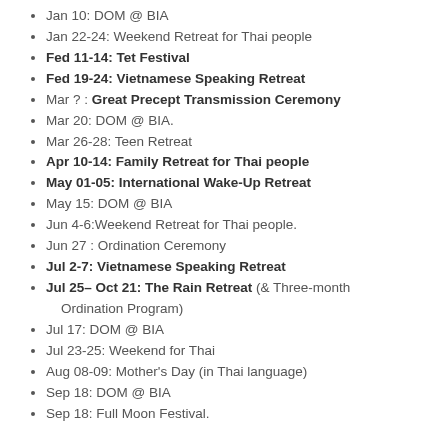Jan 10: DOM @ BIA
Jan 22-24: Weekend Retreat for Thai people
Fed 11-14: Tet Festival
Fed 19-24: Vietnamese Speaking Retreat
Mar ? : Great Precept Transmission Ceremony
Mar 20: DOM @ BIA.
Mar 26-28: Teen Retreat
Apr 10-14: Family Retreat for Thai people
May 01-05: International Wake-Up Retreat
May 15: DOM @ BIA
Jun 4-6:Weekend Retreat for Thai people.
Jun 27 : Ordination Ceremony
Jul 2-7: Vietnamese Speaking Retreat
Jul 25– Oct 21: The Rain Retreat (& Three-month Ordination Program)
Jul 17: DOM @ BIA
Jul 23-25: Weekend for Thai
Aug 08-09: Mother's Day (in Thai language)
Sep 18: DOM @ BIA
Sep 18: Full Moon Festival.